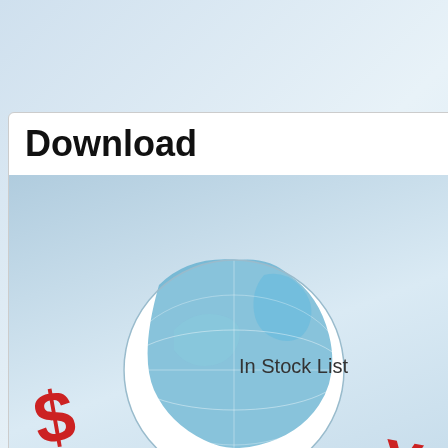[Figure (illustration): Download button area with globe 3D illustration showing currency symbols and 'In Stock List' text overlay]
[Figure (logo): Facebook logo badge icon with text 'facebook. Become a fan of us.']
[Figure (logo): Twitter logo badge icon with text 'twitter What's new on our web?']
Company Info
About Us
Contact Us
Payment Methods
Feedback
Customer Service
Shopping cart
Help Center
My Account
Track your Order
Payme...
Priba...
Retur...
Term...
Shipp...